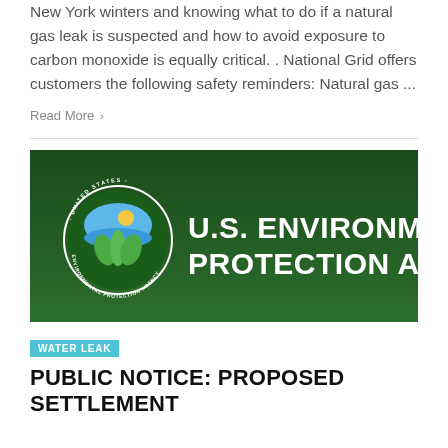New York winters and knowing what to do if a natural gas leak is suspected and how to avoid exposure to carbon monoxide is equally critical. . National Grid offers customers the following safety reminders: Natural gas ...
Read More →
[Figure (logo): U.S. Environmental Protection Agency logo on dark green background with EPA seal showing a flower/water design and circular text reading UNITED STATES ENVIRONMENTAL PROTECTION AGENCY]
WATER LEAK
PUBLIC NOTICE: PROPOSED SETTLEMENT